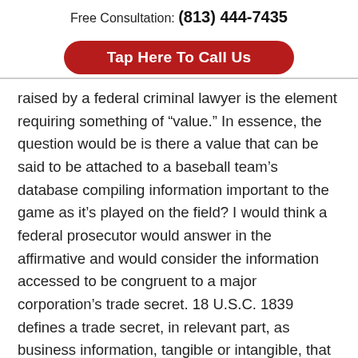Free Consultation: (813) 444-7435
[Figure (other): Red rounded rectangle button with white bold text: Tap Here To Call Us]
raised by a federal criminal lawyer is the element requiring something of “value.” In essence, the question would be is there a value that can be said to be attached to a baseball team’s database compiling information important to the game as it’s played on the field? I would think a federal prosecutor would answer in the affirmative and would consider the information accessed to be congruent to a major corporation’s trade secret. 18 U.S.C. 1839 defines a trade secret, in relevant part, as business information, tangible or intangible, that the owner has taken